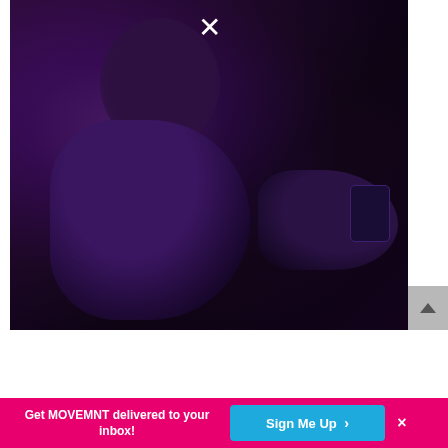[Figure (photo): Dark, moody photo of a person sitting in low purple/violet lighting, wearing headphones, holding a smartphone. A white X (close button) appears at the top center of the image.]
Get MOVEMNT delivered to your inbox!
Sign Me Up ›
×